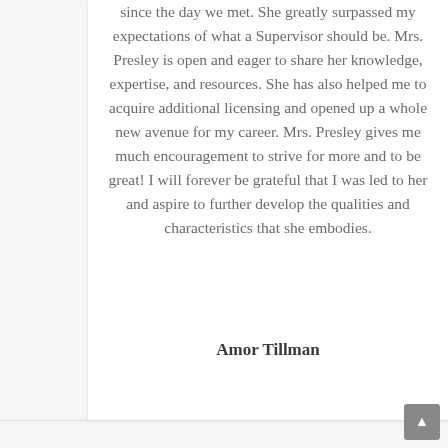since the day we met. She greatly surpassed my expectations of what a Supervisor should be. Mrs. Presley is open and eager to share her knowledge, expertise, and resources. She has also helped me to acquire additional licensing and opened up a whole new avenue for my career. Mrs. Presley gives me much encouragement to strive for more and to be great! I will forever be grateful that I was led to her and aspire to further develop the qualities and characteristics that she embodies.
Amor Tillman